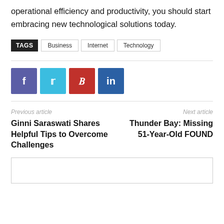operational efficiency and productivity, you should start embracing new technological solutions today.
TAGS  Business  Internet  Technology
[Figure (other): Social share buttons for Facebook, Twitter, Pinterest, LinkedIn]
Previous article
Ginni Saraswati Shares Helpful Tips to Overcome Challenges
Next article
Thunder Bay: Missing 51-Year-Old FOUND